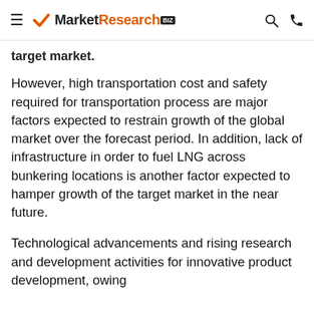MarketResearch.biz
target market.
However, high transportation cost and safety required for transportation process are major factors expected to restrain growth of the global market over the forecast period. In addition, lack of infrastructure in order to fuel LNG across bunkering locations is another factor expected to hamper growth of the target market in the near future.
Technological advancements and rising research and development activities for innovative product development, owing